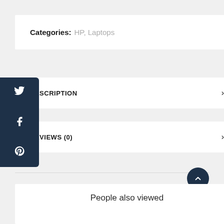Categories: HP, Laptops
DESCRIPTION
REVIEWS (0)
People also viewed